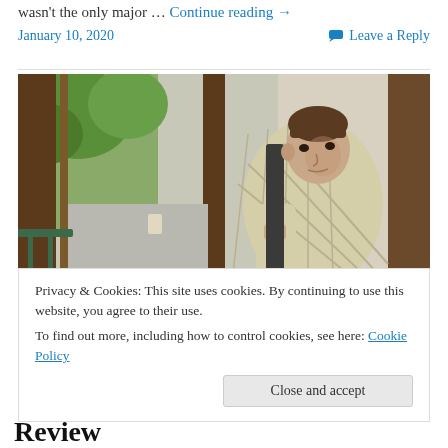wasn't the only major … Continue reading →
January 10, 2020    Leave a Reply
[Figure (photo): A man in a checkered shirt leaning on a railing near glass doors, looking toward the camera. Green trees visible outside.]
Privacy & Cookies: This site uses cookies. By continuing to use this website, you agree to their use.
To find out more, including how to control cookies, see here: Cookie Policy
Close and accept
Review